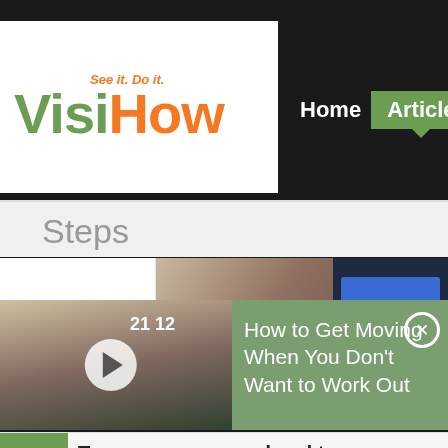[Figure (logo): VisiHow logo with tagline 'See it. Do it.' - Visi in green, How in orange]
Home  Articles
Steps
[Figure (screenshot): Close-up photo of hands using a device with blue and gray buttons on screen]
[Figure (screenshot): Video advertisement thumbnail showing a person lying on a couch with a remote, with a play button overlay. Title: How to Get Moving When You Don't Want to Work Out]
How to Get Moving When You Don't Want to Work Out
21  Type your password and tap on, Select Date of Bi